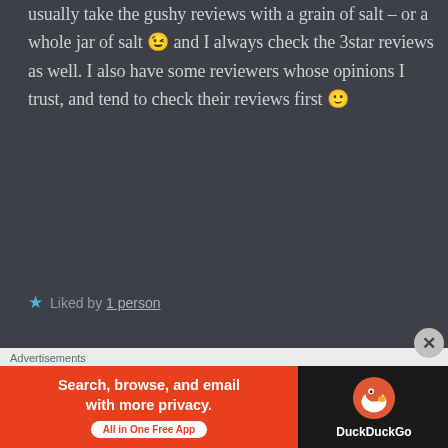usually take the gushy reviews with a grain of salt – or a whole jar of salt 😉 and I always check the 3star reviews as well. I also have some reviewers whose opinions I trust, and tend to check their reviews first 🙂
★ Liked by 1 person
ASHESBOOKSANDBOBS says: February 20, 2020 at 9:03 am
Thank you for sharing your